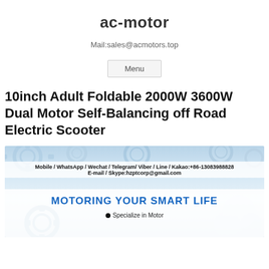ac-motor
Mail:sales@acmotors.top
Menu
10inch Adult Foldable 2000W 3600W Dual Motor Self-Balancing off Road Electric Scooter
[Figure (photo): Product promotional image with gear background showing contact info: Mobile / WhatsApp / Wechat / Telegram/ Viber / Line / Kakao:+86-13083988828, E-mail / Skype:hzptcorp@gmail.com, text MOTORING YOUR SMART LIFE, and bullet point Specialize in Motor]